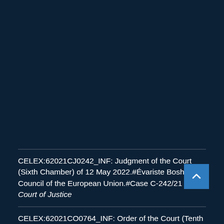CELEX:62021CJ0242_INF: Judgment of the Court (Sixth Chamber) of 12 May 2022.#Évariste Boshab v Council of the European Union.#Case C-242/21 P. Court of Justice
CELEX:62021CO0764_INF: Order of the Court (Tenth